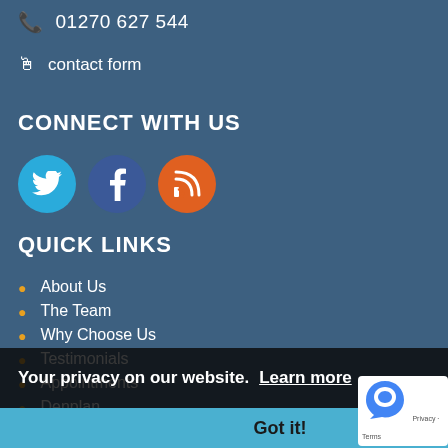01270 627 544
contact form
CONNECT WITH US
[Figure (illustration): Three social media icons: Twitter (teal), Facebook (blue), RSS/contact (orange)]
QUICK LINKS
About Us
The Team
Why Choose Us
Testimonials
Appointments
Denplan
New Patients
Cosmetic Dentistry
Facial Aesthetics
Dental Problems
Your privacy on our website. Learn more
Got it!
QUICK QUESTION